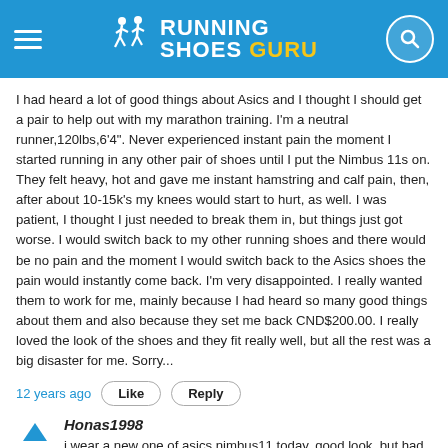RUNNING SHOES GURU
I had heard a lot of good things about Asics and I thought I should get a pair to help out with my marathon training. I'm a neutral runner,120lbs,6'4". Never experienced instant pain the moment I started running in any other pair of shoes until I put the Nimbus 11s on. They felt heavy, hot and gave me instant hamstring and calf pain, then, after about 10-15k's my knees would start to hurt, as well. I was patient, I thought I just needed to break them in, but things just got worse. I would switch back to my other running shoes and there would be no pain and the moment I would switch back to the Asics shoes the pain would instantly come back. I'm very disappointed. I really wanted them to work for me, mainly because I had heard so many good things about them and also because they set me back CND$200.00. I really loved the look of the shoes and they fit really well, but all the rest was a big disaster for me. Sorry...
12 years ago
Like
Reply
Honas1998
i wear a new one of asics nimbus11 today, good look, but had